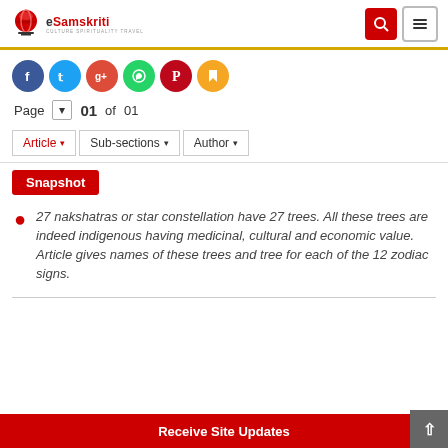eSamskriti — Culture Spirituality Travel
[Figure (screenshot): Social share icons: Facebook, Twitter, Google+, WhatsApp, Pinterest, Bookmark]
Page 01 of 01
Article ▾   Sub-sections ▾   Author ▾
Snapshot
27 nakshatras or star constellation have 27 trees. All these trees are indeed indigenous having medicinal, cultural and economic value. Article gives names of these trees and tree for each of the 12 zodiac signs.
Receive Site Updates